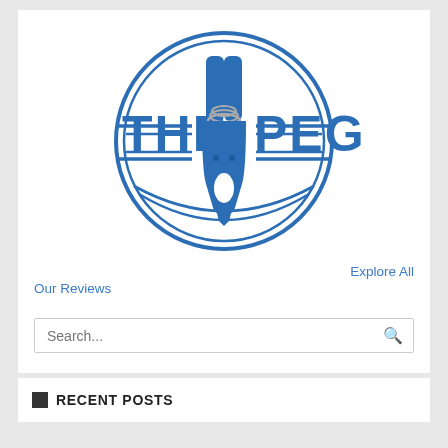[Figure (logo): The Peg logo: blue clothespin centered in a blue circle with double rings, text THE on the left and PEG on the right in bold blue capital letters with horizontal lines above and below]
Explore All
Our Reviews
Search...
RECENT POSTS